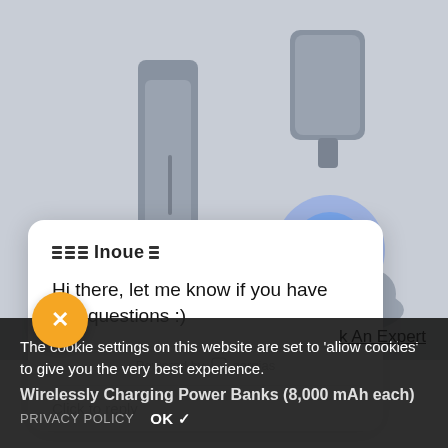[Figure (photo): Product photo of a gray wireless charging station/dock with blue lightning wireless charging animation effect visible. Chat widget overlay card with Inoue branding showing message 'Hi there, let me know if you have any questions :)' powered by gorgias, with a 'Click to reply' input area.]
Hi there, let me know if you have any questions :)
Powered by gorgias
Click to reply
k An Expert
The cookie settings on this website are set to 'allow cookies' to give you the very best experience.
Wirelessly Charging Power Banks (8,000 mAh each)
PRIVACY POLICY  OK ✓